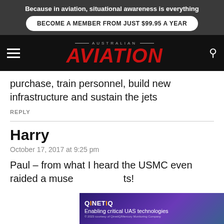Because in aviation, situational awareness is everything
BECOME A MEMBER FROM JUST $99.95 A YEAR
AUSTRALIAN AVIATION
purchase, train personnel, build new infrastructure and sustain the jets
REPLY
Harry
October 17, 2017 at 9:25 pm
Paul – from what I heard the USMC even raided a muse… ts!
[Figure (other): QinetiQ advertisement banner: 'Enabling critical UAS technologies']